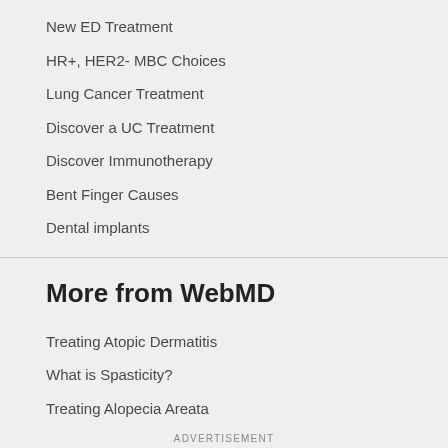New ED Treatment
HR+, HER2- MBC Choices
Lung Cancer Treatment
Discover a UC Treatment
Discover Immunotherapy
Bent Finger Causes
Dental implants
More from WebMD
Treating Atopic Dermatitis
What is Spasticity?
Treating Alopecia Areata
ADVERTISEMENT